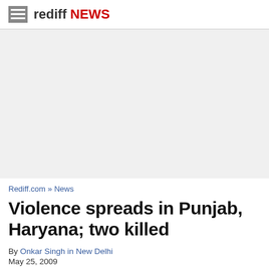rediff NEWS
[Figure (other): Advertisement / blank gray area]
Rediff.com » News
Violence spreads in Punjab, Haryana; two killed
By Onkar Singh in New Delhi
May 25, 2009